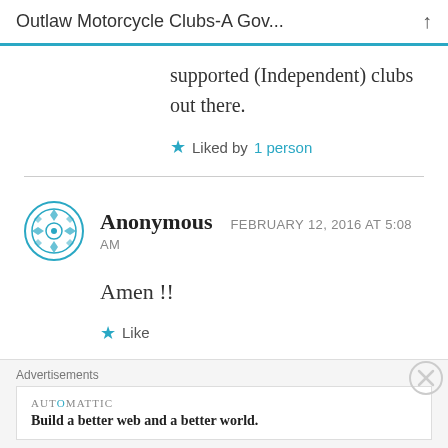Outlaw Motorcycle Clubs-A Gov...
supported (Independent) clubs out there.
★ Liked by 1 person
Anonymous  FEBRUARY 12, 2016 AT 5:08 AM
Amen !!
★ Like
Advertisements
AUTOMATTIC
Build a better web and a better world.